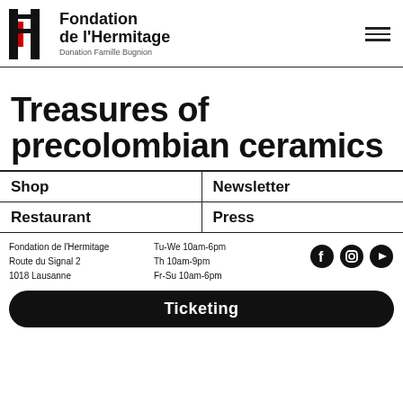Fondation de l'Hermitage — Donation Famille Bugnion
Treasures of precolombian ceramics
| Shop | Newsletter |
| --- | --- |
| Restaurant | Press |
Fondation de l'Hermitage, Route du Signal 2, 1018 Lausanne | Tu-We 10am-6pm, Th 10am-9pm, Fr-Su 10am-6pm
Ticketing